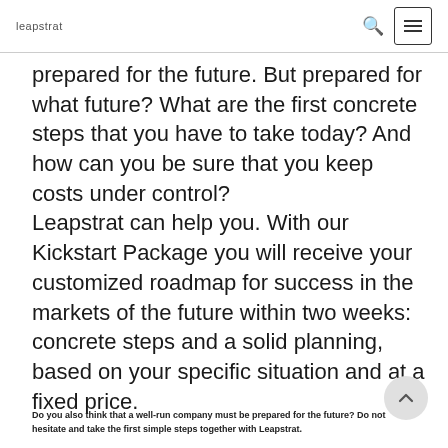leapstrat
prepared for the future. But prepared for what future? What are the first concrete steps that you have to take today? And how can you be sure that you keep costs under control?
Leapstrat can help you. With our Kickstart Package you will receive your customized roadmap for success in the markets of the future within two weeks: concrete steps and a solid planning, based on your specific situation and at a fixed price.
Do you also think that a well-run company must be prepared for the future? Do not hesitate and take the first simple steps together with Leapstrat.